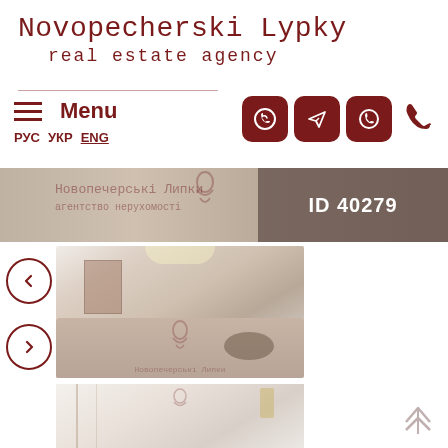Novopecherski Lypky
real estate agency
Menu
РУС  УКР  ENG
[Figure (screenshot): Navigation icons: Viber, Telegram, WhatsApp, Phone call buttons in dark red rounded squares]
[Figure (photo): Banner photo of a bedroom/interior with Novopecherski Lypky watermark and ID 40279 overlay]
[Figure (photo): Interior photo of luxury apartment living room with sofa and coffee table]
[Figure (photo): Second interior photo partially visible at bottom]